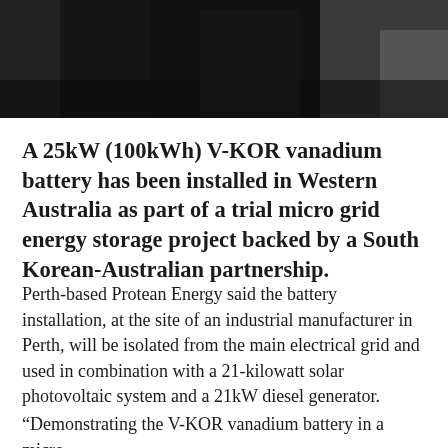[Figure (photo): Dark/blurred photograph banner at top of page, showing industrial or outdoor scene in dark tones]
A 25kW (100kWh) V-KOR vanadium battery has been installed in Western Australia as part of a trial micro grid energy storage project backed by a South Korean-Australian partnership.
Perth-based Protean Energy said the battery installation, at the site of an industrial manufacturer in Perth, will be isolated from the main electrical grid and used in combination with a 21-kilowatt solar photovoltaic system and a 21kW diesel generator.
“Demonstrating the V-KOR vanadium battery in a micro